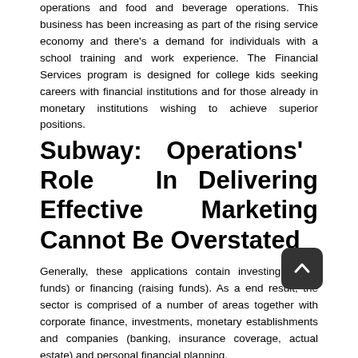operations and food and beverage operations. This business has been increasing as part of the rising service economy and there's a demand for individuals with a school training and work experience. The Financial Services program is designed for college kids seeking careers with financial institutions and for those already in monetary institutions wishing to achieve superior positions.
Subway: Operations' Role In Delivering Effective Marketing Cannot Be Overstated
Generally, these applications contain investing (using funds) or financing (raising funds). As a end result, the sector is comprised of a number of areas together with corporate finance, investments, monetary establishments and companies (banking, insurance coverage, actual estate) and personal financial planning.
They may have rigorous understanding of profit and loss statements and accounting practices however they could don't have any understanding of promoting lag, or how intangibles